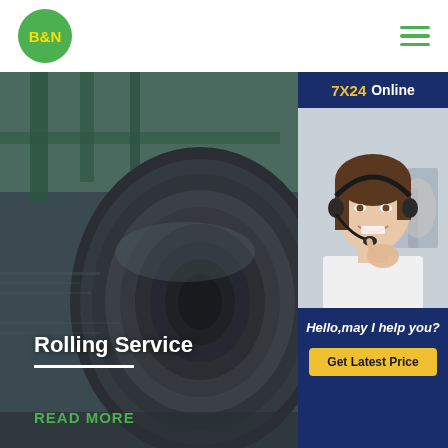[Figure (logo): B&N logo: green circle with yellow B&N text]
[Figure (illustration): Hamburger/menu icon with three green horizontal lines]
7X24 Online
[Figure (photo): Customer service agent woman wearing headset, smiling, white shirt, blurred office background]
[Figure (photo): Rolling service steel coil industrial photo with teal/blue background machinery]
Rolling Service
READ MORE
Hello,may I help you?
Get Latest Price